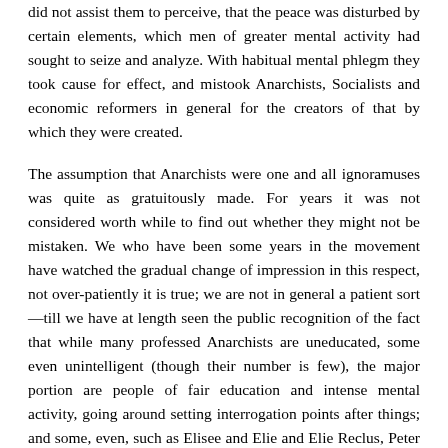did not assist them to perceive, that the peace was disturbed by certain elements, which men of greater mental activity had sought to seize and analyze. With habitual mental phlegm they took cause for effect, and mistook Anarchists, Socialists and economic reformers in general for the creators of that by which they were created.
The assumption that Anarchists were one and all ignoramuses was quite as gratuitously made. For years it was not considered worth while to find out whether they might not be mistaken. We who have been some years in the movement have watched the gradual change of impression in this respect, not over-patiently it is true; we are not in general a patient sort—till we have at length seen the public recognition of the fact that while many professed Anarchists are uneducated, some even unintelligent (though their number is few), the major portion are people of fair education and intense mental activity, going around setting interrogation points after things; and some, even, such as Elisee and Elie and Elie Reclus, Peter Kropotkin, Edward Carpenter, or the late Daniel G. Brinton, of the University of Pennsylvania, men of scientific pre-eminence. Mental activity alone, however, would not